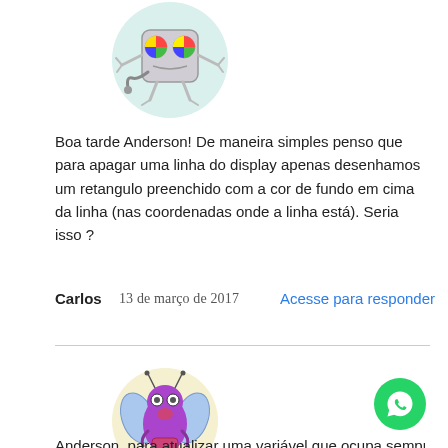[Figure (illustration): Cartoon avatar of a grey robot-like character with colorful eyes inside a light teal circle]
Boa tarde Anderson! De maneira simples penso que para apagar uma linha do display apenas desenhamos um retangulo preenchido com a cor de fundo em cima da linha (nas coordenadas onde a linha está). Seria isso ?
Carlos   13 de março de 2017   Acesse para responder
[Figure (illustration): Cartoon avatar of a purple ant-like insect with blue wings inside a light yellow circle]
Anderson, para atualizar uma variável que ocupa sempre